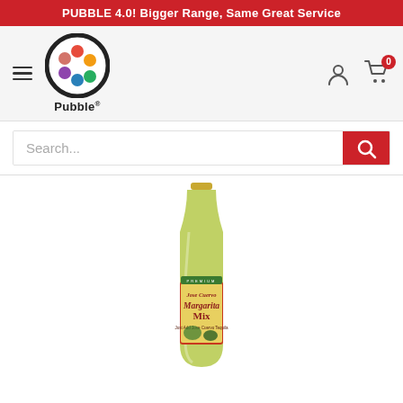PUBBLE 4.0! Bigger Range, Same Great Service
[Figure (logo): Pubble logo: circular icon with colorful dots and 'Pubble' text below]
[Figure (screenshot): Search bar with placeholder text 'Search...' and red search button with magnifying glass icon]
[Figure (photo): Jose Cuervo Margarita Mix bottle, green glass bottle with gold cap, label showing 'Jose Cuervo Margarita Mix' with tropical imagery]